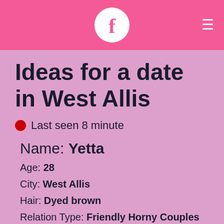[Figure (logo): Pink header bar with white circular Facebook-style 'f' logo in center and hamburger menu icon on the right]
Ideas for a date in West Allis
Last seen 8 minute
Name: Yetta
Age: 28
City: West Allis
Hair: Dyed brown
Relation Type: Friendly Horny Couples Seeks Friendly Woman
Seeking: I Seeking Nsa